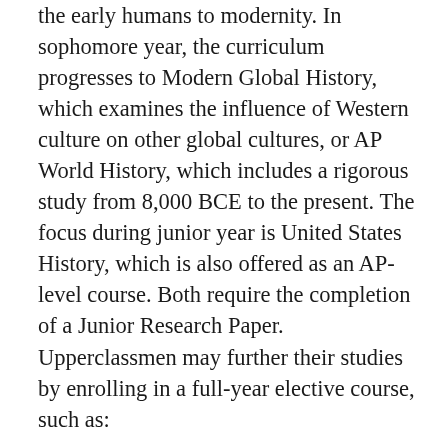the early humans to modernity. In sophomore year, the curriculum progresses to Modern Global History, which examines the influence of Western culture on other global cultures, or AP World History, which includes a rigorous study from 8,000 BCE to the present. The focus during junior year is United States History, which is also offered as an AP-level course. Both require the completion of a Junior Research Paper. Upperclassmen may further their studies by enrolling in a full-year elective course, such as: